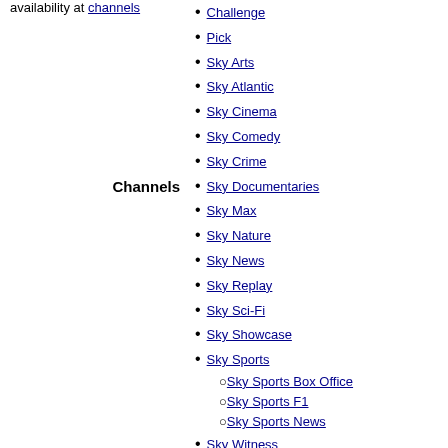availability at channels
Challenge
Pick
Sky Arts
Sky Atlantic
Sky Cinema
Sky Comedy
Sky Crime
Sky Documentaries
Sky Max
Sky Nature
Channels
Sky News
Sky Replay
Sky Sci-Fi
Sky Showcase
Sky Sports
Sky Sports Box Office
Sky Sports F1
Sky Sports News
Sky Witness
Now
Galaxy
The Power Station
The Sports Channel
The Comedy Channel